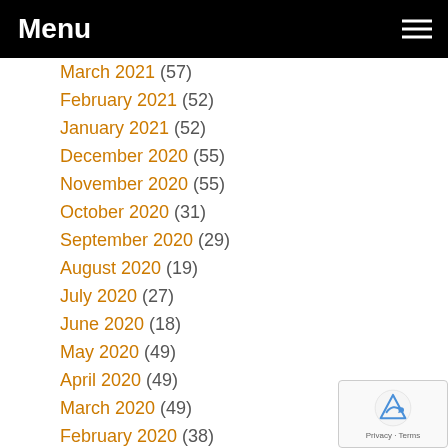Menu
March 2021 (57)
February 2021 (52)
January 2021 (52)
December 2020 (55)
November 2020 (55)
October 2020 (31)
September 2020 (29)
August 2020 (19)
July 2020 (27)
June 2020 (18)
May 2020 (49)
April 2020 (49)
March 2020 (49)
February 2020 (38)
January 2020 (38)
December 2019 (42)
November 2019 (39)
October 2019 (28)